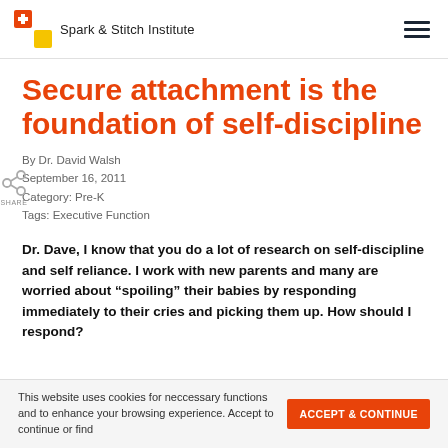Spark & Stitch Institute
Secure attachment is the foundation of self-discipline
By Dr. David Walsh
September 16, 2011
Category: Pre-K
Tags: Executive Function
Dr. Dave, I know that you do a lot of research on self-discipline and self reliance. I work with new parents and many are worried about “spoiling” their babies by responding immediately to their cries and picking them up. How should I respond?
This website uses cookies for neccessary functions and to enhance your browsing experience. Accept to continue or find